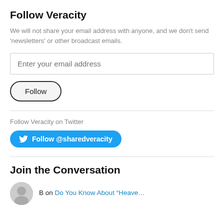Follow Veracity
We will not share your email address with anyone, and we don't send 'newsletters' or other broadcast emails.
[Figure (screenshot): Email input field with placeholder text 'Enter your email address']
[Figure (screenshot): Follow button with rounded pill border]
Follow Veracity on Twitter
[Figure (screenshot): Twitter Follow @sharedveracity button in blue with Twitter bird icon]
Join the Conversation
B on Do You Know About “Heave…